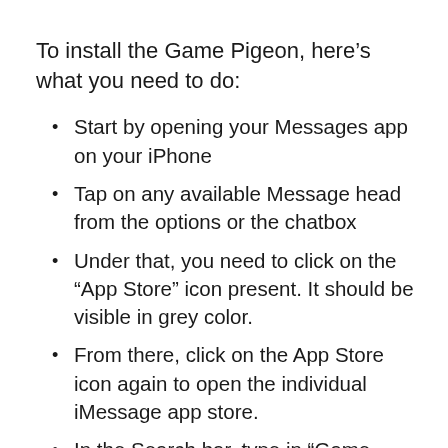To install the Game Pigeon, here’s what you need to do:
Start by opening your Messages app on your iPhone
Tap on any available Message head from the options or the chatbox
Under that, you need to click on the “App Store” icon present. It should be visible in grey color.
From there, click on the App Store icon again to open the individual iMessage app store.
In the Search bar, type in “Game Pigeon” and click enter to search it
You need to give your Apple ID for